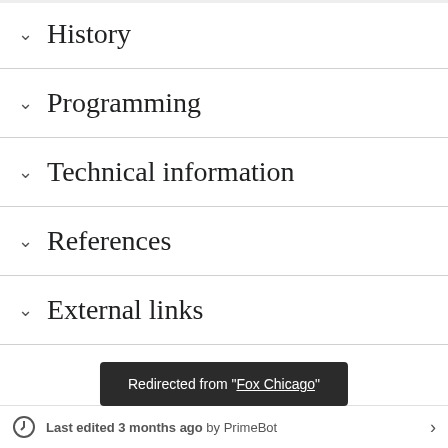History
Programming
Technical information
References
External links
Redirected from "Fox Chicago"
Last edited 3 months ago by PrimeBot